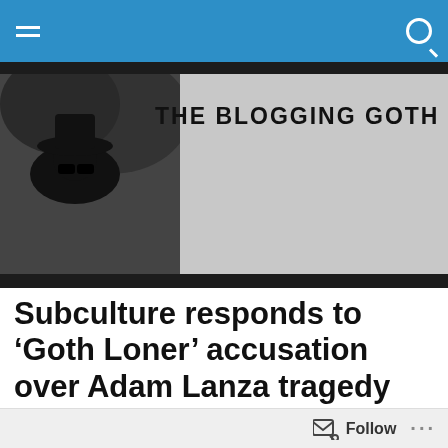THE BLOGGING GOTH
Subculture responds to ‘Goth Loner’ accusation over Adam Lanza tragedy
[Figure (screenshot): The Mail on Sunday newspaper front page with £10,000 To Be Won promotion box]